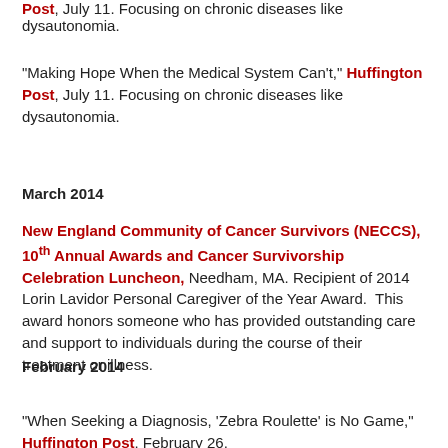Post, July 11. Focusing on chronic diseases like dysautonomia.
"Making Hope When the Medical System Can't," Huffington Post, July 11. Focusing on chronic diseases like dysautonomia.
March 2014
New England Community of Cancer Survivors (NECCS), 10th Annual Awards and Cancer Survivorship Celebration Luncheon, Needham, MA. Recipient of 2014 Lorin Lavidor Personal Caregiver of the Year Award. This award honors someone who has provided outstanding care and support to individuals during the course of their treatment or illness.
February 2014
"When Seeking a Diagnosis, 'Zebra Roulette' is No Game," Huffington Post, February 26.